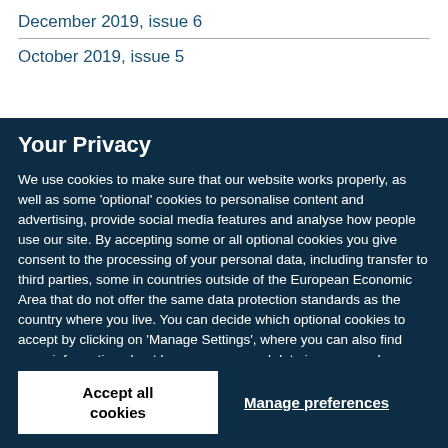December 2019, issue 6
October 2019, issue 5
Your Privacy
We use cookies to make sure that our website works properly, as well as some 'optional' cookies to personalise content and advertising, provide social media features and analyse how people use our site. By accepting some or all optional cookies you give consent to the processing of your personal data, including transfer to third parties, some in countries outside of the European Economic Area that do not offer the same data protection standards as the country where you live. You can decide which optional cookies to accept by clicking on 'Manage Settings', where you can also find more information about how your personal data is processed. Further information can be found in our privacy policy.
Accept all cookies
Manage preferences